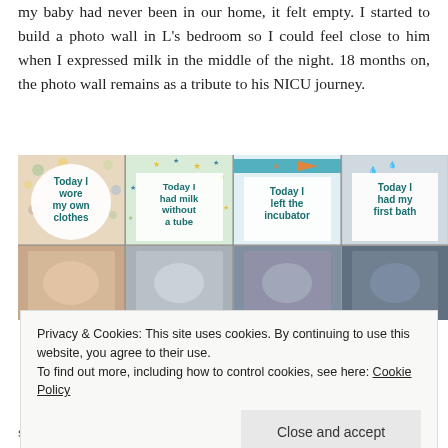my baby had never been in our home, it felt empty. I started to build a photo wall in L's bedroom so I could feel close to him when I expressed milk in the middle of the night. 18 months on, the photo wall remains as a tribute to his NICU journey.
[Figure (photo): A photo wall showing four milestone cards for a NICU baby: 'Today I wore my own clothes', 'Today I had milk without a tube', 'Today I left the incubator', 'Today I had my first bath', each with a corresponding baby photo below.]
Privacy & Cookies: This site uses cookies. By continuing to use this website, you agree to their use.
To find out more, including how to control cookies, see here: Cookie Policy
suitable for your newborn. Despite the fact that your baby